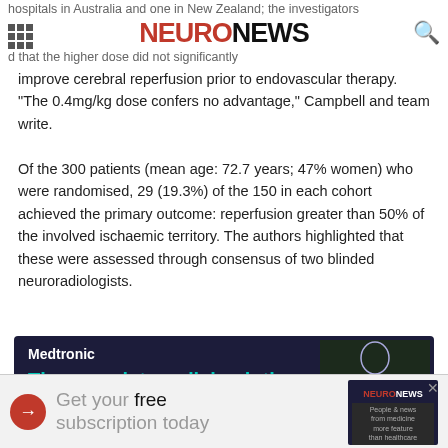NEURONEWS
hospitals in Australia and one in New Zealand; the investigators found that the higher dose did not significantly improve cerebral reperfusion prior to endovascular therapy. "The 0.4mg/kg dose confers no advantage," Campbell and team write.
Of the 300 patients (mean age: 72.7 years; 47% women) who were randomised, 29 (19.3%) of the 150 in each cohort achieved the primary outcome: reperfusion greater than 50% of the involved ischaemic territory. The authors highlighted that these were assessed through consensus of two blinded neuroradiologists.
[Figure (advertisement): Medtronic advertisement: 'The complete radial solution. Hands down.' with Rist 079 Guide Catheter and human body diagram. Learn more button.]
[Figure (advertisement): NeuroNews free subscription banner advertisement with arrow icon and NeuroNews logo image.]
In term... functi... 0.25m...